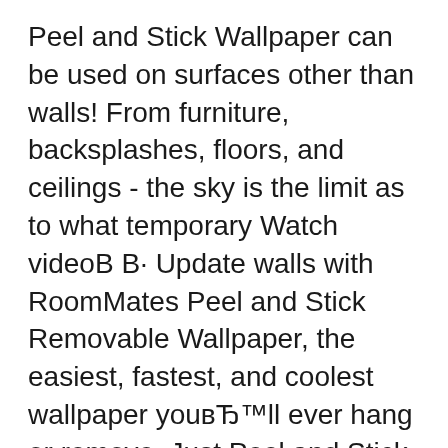Peel and Stick Wallpaper can be used on surfaces other than walls! From furniture, backsplashes, floors, and ceilings - the sky is the limit as to what temporary Watch videoВ В· Update walls with RoomMates Peel and Stick Removable Wallpaper, the easiest, fastest, and coolest wallpaper youвЋ™ll ever hang or remove. Just Peel and Stick to Decorate.
How to Hang a Peel & Stick Aspect Tile Accent Wall. Thanks for supporting the brands that make Charleston Crafted possible. Wow those peel and stick wall tile Shop Samantha Santana's real floral patterns and prints, on REMOVABLE, reposition-able woven wallpaper. IT'S